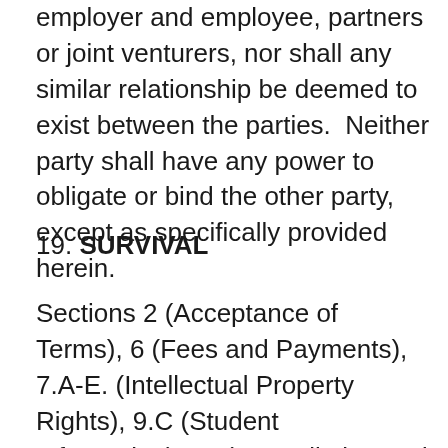employer and employee, partners or joint venturers, nor shall any similar relationship be deemed to exist between the parties.  Neither party shall have any power to obligate or bind the other party, except as specifically provided herein.
19. SURVIVAL
Sections 2 (Acceptance of Terms), 6 (Fees and Payments), 7.A-E. (Intellectual Property Rights), 9.C (Student Information), 11 (Cancellation and Termination), 12 (Disclaimer of Warranties and Liability), 13 (Limitation of Liability), 14 (Indemnification), 15 (Assignment), 16 (Entire Agreement; Amended Terms), 17 (Severability), 18